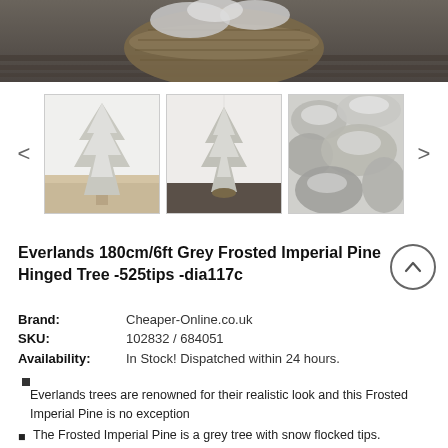[Figure (photo): Top portion of product page showing a wicker basket with snowy Christmas tree branches against a dark wood background]
[Figure (photo): Three thumbnail images of a grey frosted imperial pine Christmas tree: full tree in corner, full tree in room with dark floor, and close-up of snow-flocked branches]
Everlands 180cm/6ft Grey Frosted Imperial Pine Hinged Tree -525tips -dia117c
| Brand: | Cheaper-Online.co.uk |
| SKU: | 102832 / 684051 |
| Availability: | In Stock! Dispatched within 24 hours. |
Everlands trees are renowned for their realistic look and this Frosted Imperial Pine is no exception
The Frosted Imperial Pine is a grey tree with snow flocked tips.